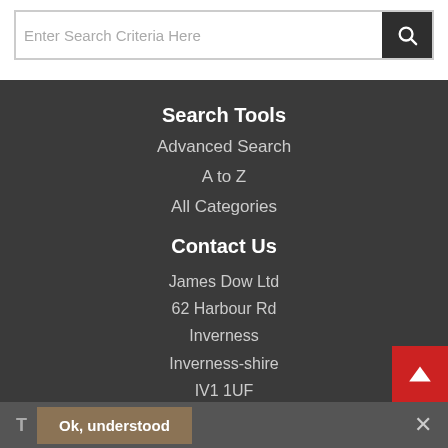Enter Search Criteria Here
Search Tools
Advanced Search
A to Z
All Categories
Contact Us
James Dow Ltd
62 Harbour Rd
Inverness
Inverness-shire
IV1 1UF
✉ sales@jamesdow.co.uk
📞 01463 233417
T  Ok, understood  ×